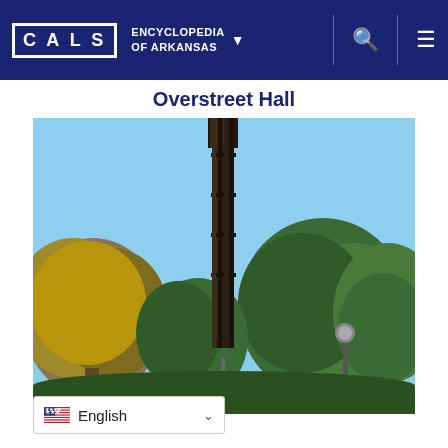CALS ENCYCLOPEDIA OF ARKANSAS
Overstreet Hall
[Figure (photo): Outdoor photograph showing a tall dark metal carillon or bell tower structure surrounded by green trees against a clear blue sky. A lamp post is visible in the lower right area.]
English